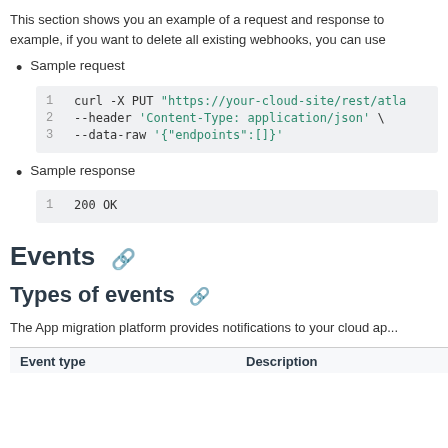This section shows you an example of a request and response to... example, if you want to delete all existing webhooks, you can use
Sample request
[Figure (screenshot): Code block showing curl command: line 1: curl -X PUT "https://your-cloud-site/rest/atla...", line 2: --header 'Content-Type: application/json' \, line 3: --data-raw '{"endpoints":[]}']
Sample response
[Figure (screenshot): Code block showing: line 1: 200 OK]
Events 🔗
Types of events 🔗
The App migration platform provides notifications to your cloud ap...
| Event type | Description |
| --- | --- |